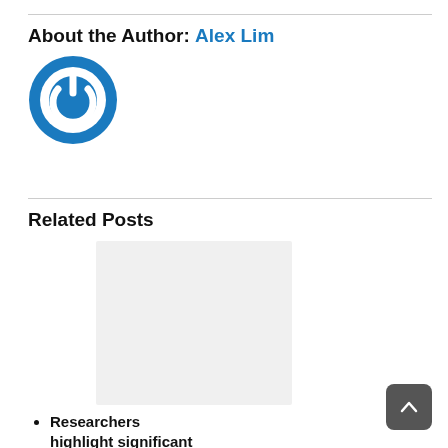About the Author: Alex Lim
[Figure (logo): Blue circular power button icon — author avatar for Alex Lim]
Related Posts
[Figure (photo): Gray placeholder image for a related post thumbnail]
Researchers highlight significant